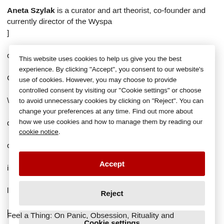Aneta Szylak is a curator and art theorist, co-founder and currently director of the Wyspa ]
This website uses cookies to help us give you the best experience. By clicking "Accept", you consent to our website's use of cookies. However, you may choose to provide controlled consent by visiting our "Cookie settings" or choose to avoid unnecessary cookies by clicking on "Reject". You can change your preferences at any time. Find out more about how we use cookies and how to manage them by reading our cookie notice.
Accept
Reject
Cookie settings
Feel a Thing: On Panic, Obsession, Rituality and